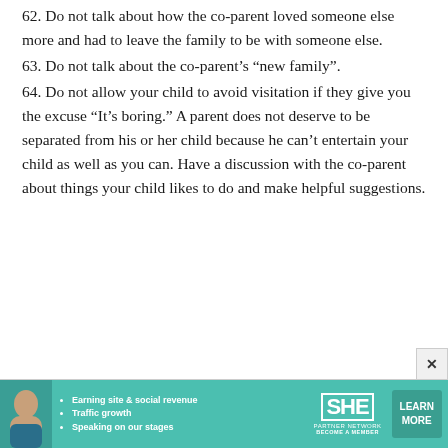62. Do not talk about how the co-parent loved someone else more and had to leave the family to be with someone else.
63. Do not talk about the co-parent’s “new family”.
64. Do not allow your child to avoid visitation if they give you the excuse “It’s boring.” A parent does not deserve to be separated from his or her child because he can’t entertain your child as well as you can. Have a discussion with the co-parent about things your child likes to do and make helpful suggestions.
[Figure (infographic): SHE Partner Network advertisement banner with woman photo, bullet points about earning site & social revenue, traffic growth, speaking on stages, SHE logo, and LEARN MORE button]